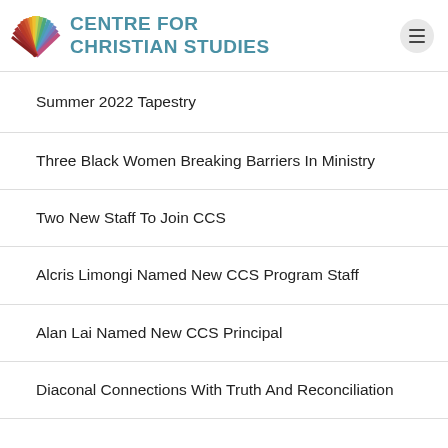CENTRE FOR CHRISTIAN STUDIES
Summer 2022 Tapestry
Three Black Women Breaking Barriers In Ministry
Two New Staff To Join CCS
Alcris Limongi Named New CCS Program Staff
Alan Lai Named New CCS Principal
Diaconal Connections With Truth And Reconciliation